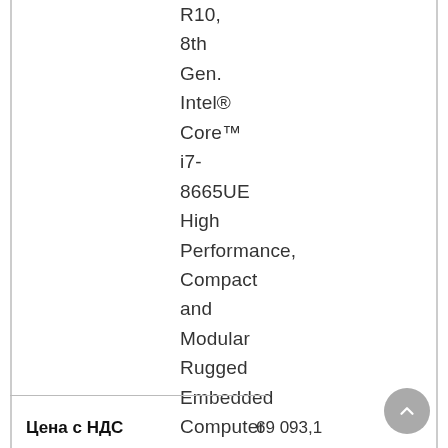R10, 8th Gen. Intel® Core™ i7-8665UE High Performance, Compact and Modular Rugged Embedded Computer
Цена с НДС  69 093,1